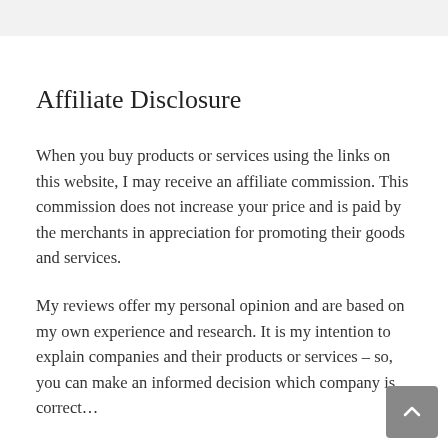Affiliate Disclosure
When you buy products or services using the links on this website, I may receive an affiliate commission. This commission does not increase your price and is paid by the merchants in appreciation for promoting their goods and services.
My reviews offer my personal opinion and are based on my own experience and research. It is my intention to explain companies and their products or services – so, you can make an informed decision which company is correct…